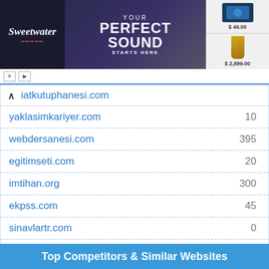[Figure (screenshot): Sweetwater audio equipment advertisement banner with 'Your Perfect Sound Starts Here' text, tablet app ($49.00) and guitar ($2,899.00) products shown]
| Domain | Value |
| --- | --- |
| iatkutuphanesi.com |  |
| yaklasimkariyer.com | 10 |
| webdersanesi.com | 395 |
| egitimseti.com | 20 |
| imtihan.org | 300 |
| ekpss.com | 45 |
| sinavlartr.com | 0 |
| kpssbelgesi.com | 0 |
| kampus724.com | 0 |
| burduryediiklim.com | 5 |
| osymbilgi.com | 0 |
Top Competitors & Similar Websites